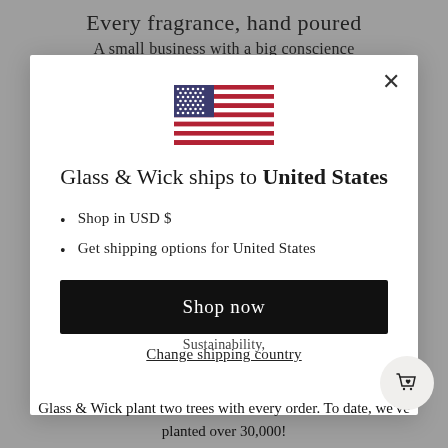Every fragrance, hand poured
A small business with a big conscience
[Figure (illustration): US flag icon centered in modal]
Glass & Wick ships to United States
Shop in USD $
Get shipping options for United States
Shop now
Change shipping country
Glass & Wick plant two trees with every order. To date, we've planted over 30,000!